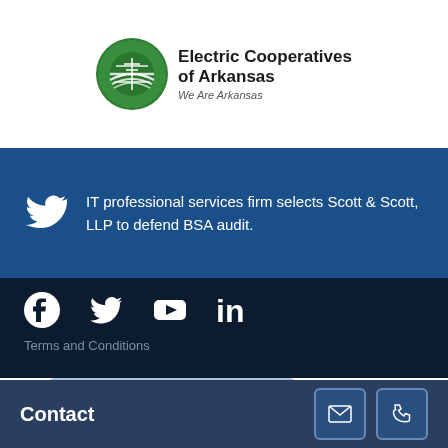[Figure (logo): Electric Cooperatives of Arkansas logo with green globe/field icon and text 'Electric Cooperatives of Arkansas, We Are Arkansas']
IT professional services firm selects Scott & Scott, LLP to defend BSA audit.
[Figure (infographic): Social media icons row: Facebook, Twitter, YouTube, LinkedIn on dark navy background]
Terms and Conditions
[Figure (screenshot): Google review overlay with Google G logo and 5 gold stars on light blue background]
rove your experience. We'll assume
Contact